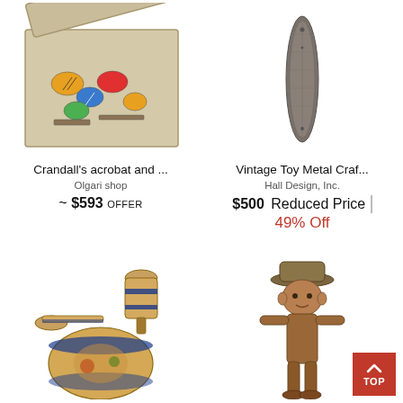[Figure (photo): Box of Crandall's acrobat toy pieces with colorful painted wooden figures inside a cardboard box]
Crandall's acrobat and ...
Olgari shop
~ $593 OFFER
[Figure (photo): Vintage metal craft toy shaped like a long narrow fish or shuttle, dark metal patina]
Vintage Toy Metal Craf...
Hall Design, Inc.
$500 Reduced Price
49% Off
[Figure (photo): Vintage painted wooden rattle toy with colorful decorative scenes]
[Figure (photo): Vintage wooden articulated Pinocchio-style figure wearing a hat]